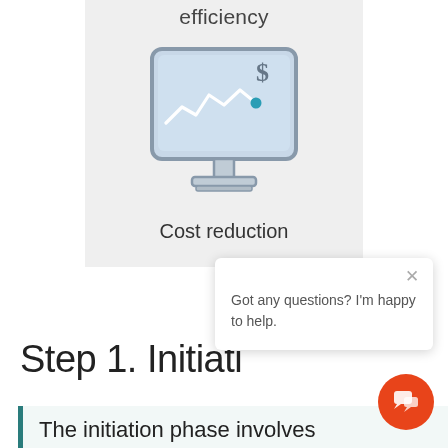efficiency
[Figure (illustration): Monitor screen icon showing a declining line chart with a dollar sign and a teal dot, representing cost reduction]
Cost reduction
Got any questions? I'm happy to help.
Step 1. Initiati
The initiation phase involves identifying a business processes that